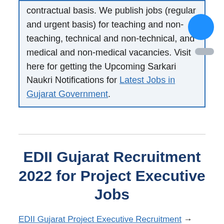contractual basis. We publish jobs (regular and urgent basis) for teaching and non-teaching, technical and non-technical, and medical and non-medical vacancies. Visit here for getting the Upcoming Sarkari Naukri Notifications for Latest Jobs in Gujarat Government.
EDII Gujarat Recruitment 2022 for Project Executive Jobs
EDII Gujarat Project Executive Recruitment → Apply Online for Project Executive Vacancy –